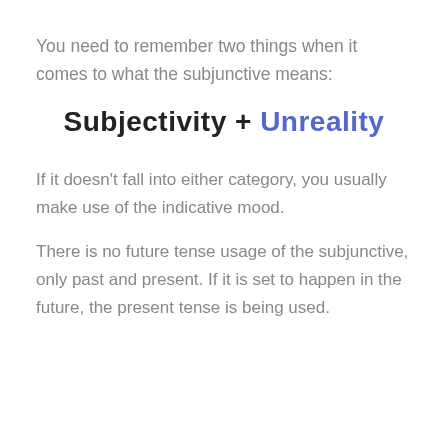You need to remember two things when it comes to what the subjunctive means:
If it doesn't fall into either category, you usually make use of the indicative mood.
There is no future tense usage of the subjunctive, only past and present. If it is set to happen in the future, the present tense is being used.